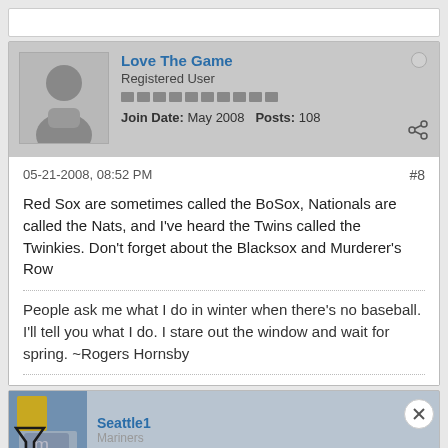[Figure (screenshot): Top white bar (partial previous post)]
Love The Game
Registered User
Join Date: May 2008    Posts: 108
05-21-2008, 08:52 PM
#8
Red Sox are sometimes called the BoSox, Nationals are called the Nats, and I've heard the Twins called the Twinkies. Don't forget about the Blacksox and Murderer's Row
People ask me what I do in winter when there's no baseball. I'll tell you what I do. I stare out the window and wait for spring. ~Rogers Hornsby
Seattle1
Mariners
[Figure (screenshot): Disney Bundle ad banner with Hulu, Disney+, ESPN+ logos and GET THE DISNEY BUNDLE CTA]